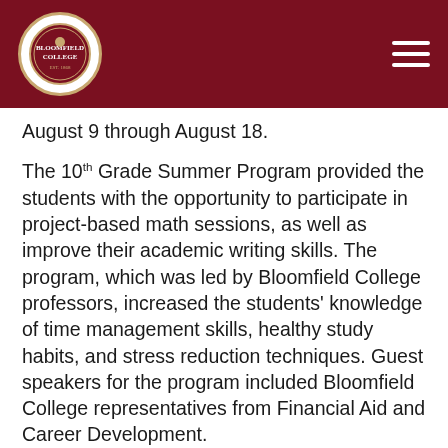[Bloomfield College logo and navigation]
August 9 through August 18.
The 10th Grade Summer Program provided the students with the opportunity to participate in project-based math sessions, as well as improve their academic writing skills. The program, which was led by Bloomfield College professors, increased the students' knowledge of time management skills, healthy study habits, and stress reduction techniques. Guest speakers for the program included Bloomfield College representatives from Financial Aid and Career Development.
“The Eagle Academy students will also be participating in PARCC (Partnership for Assessment of Readiness for College and Careers) test prep here on campus once a month throughout the school year,” added Dr. Tresmaine